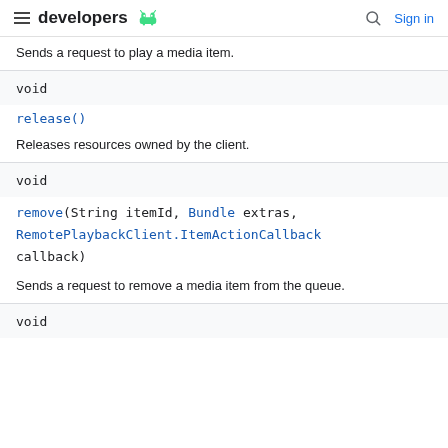developers
Sends a request to play a media item.
void
release()
Releases resources owned by the client.
void
remove(String itemId, Bundle extras, RemotePlaybackClient.ItemActionCallback callback)
Sends a request to remove a media item from the queue.
void